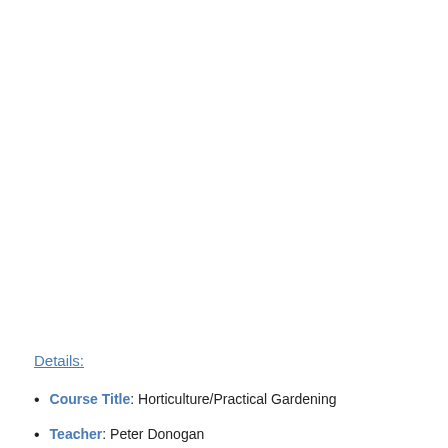Details:
Course Title: Horticulture/Practical Gardening
Teacher: Peter Donogan